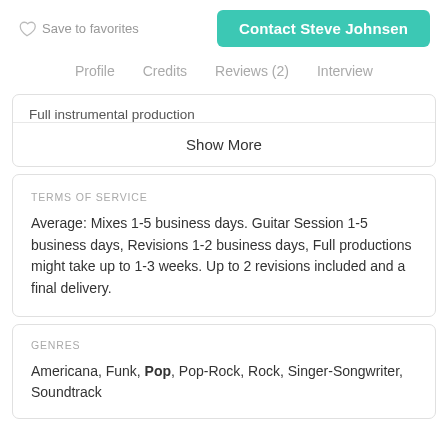Save to favorites
Contact Steve Johnsen
Profile   Credits   Reviews (2)   Interview
Full instrumental production
Show More
TERMS OF SERVICE
Average: Mixes 1-5 business days. Guitar Session 1-5 business days, Revisions 1-2 business days, Full productions might take up to 1-3 weeks. Up to 2 revisions included and a final delivery.
GENRES
Americana, Funk, Pop, Pop-Rock, Rock, Singer-Songwriter, Soundtrack